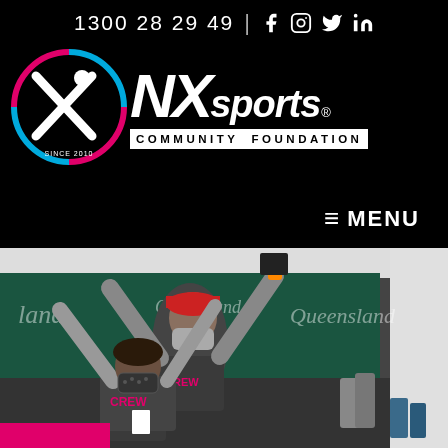1300 28 29 49 | f Instagram Twitter in
[Figure (logo): NXsports Community Foundation logo with circular icon showing figure and 'Since 2010' text, bold white NX sports text with registered trademark, white box containing COMMUNITY FOUNDATION text]
≡ MENU
[Figure (photo): Two people in dark crew t-shirts and face masks with arms raised in celebration under a tent/marquee, with Queensland Government green banners in the background and a pink strip at the bottom]